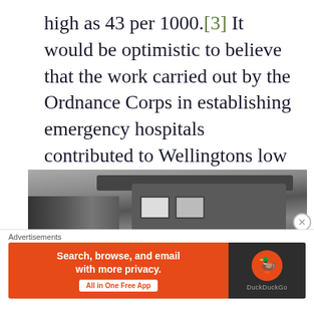high as 43 per 1000.[3] It would be optimistic to believe that the work carried out by the Ordnance Corps in establishing emergency hospitals contributed to Wellingtons low death rate.
[Figure (photo): Black and white historical photograph showing an ambulance or vehicle with 'Wellington Harbour Board' text visible, with figures in dark uniforms on the left side.]
Advertisements
[Figure (other): DuckDuckGo advertisement banner with orange background. Text reads 'Search, browse, and email with more privacy. All in One Free App' with DuckDuckGo logo on the right.]